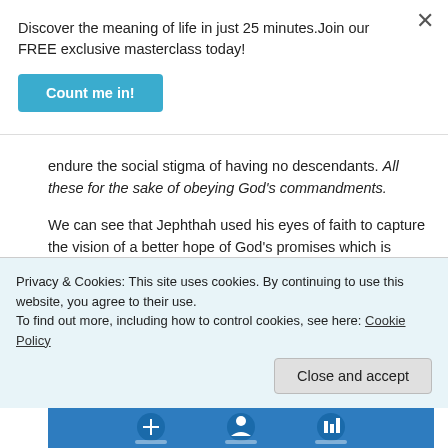Discover the meaning of life in just 25 minutes.Join our FREE exclusive masterclass today!
Count me in!
endure the social stigma of having no descendants. All these for the sake of obeying God's commandments.
We can see that Jephthah used his eyes of faith to capture the vision of a better hope of God's promises which is GREATER than all what he had hoped for during his physical life. This is
Privacy & Cookies: This site uses cookies. By continuing to use this website, you agree to their use.
To find out more, including how to control cookies, see here: Cookie Policy
Close and accept